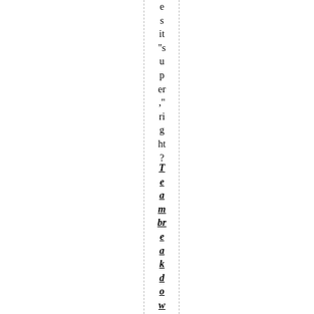es it “sup­er,” right?
Teambreakdowns so far: A